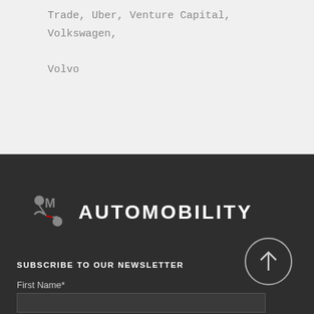Trade, Uber, Venture Capital, Volkswagen, Volvo
[Figure (logo): AutoMobility logo with icon showing two connected nodes/people and the word AUTOMOBILITY in white bold uppercase letters on dark background]
SUBSCRIBE TO OUR NEWSLETTER
First Name*